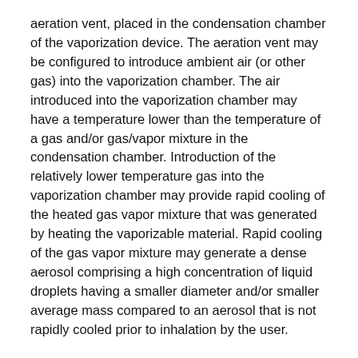aeration vent, placed in the condensation chamber of the vaporization device. The aeration vent may be configured to introduce ambient air (or other gas) into the vaporization chamber. The air introduced into the vaporization chamber may have a temperature lower than the temperature of a gas and/or gas/vapor mixture in the condensation chamber. Introduction of the relatively lower temperature gas into the vaporization chamber may provide rapid cooling of the heated gas vapor mixture that was generated by heating the vaporizable material. Rapid cooling of the gas vapor mixture may generate a dense aerosol comprising a high concentration of liquid droplets having a smaller diameter and/or smaller average mass compared to an aerosol that is not rapidly cooled prior to inhalation by the user.
An aerosol with a high concentration of liquid droplets having a smaller diameter and/or smaller average mass compared to an aerosol that is not rapidly cooled prior to inhalation by the user may be formed in a two-step process. The first step may occur in the oven chamber where the vaporizable material (e.g., tobacco and/or botanical and humectant blend) may be heated to an